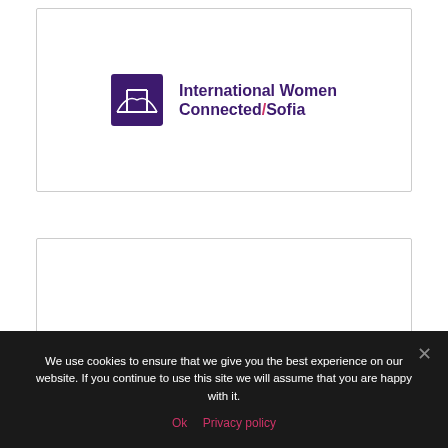[Figure (logo): International Women Connected/Sofia logo — purple square icon with bridge silhouette and text name beside it, inside a card with border]
[Figure (logo): Partial second card showing just the top of a similar logo, cut off at bottom]
We use cookies to ensure that we give you the best experience on our website. If you continue to use this site we will assume that you are happy with it.
Ok   Privacy policy